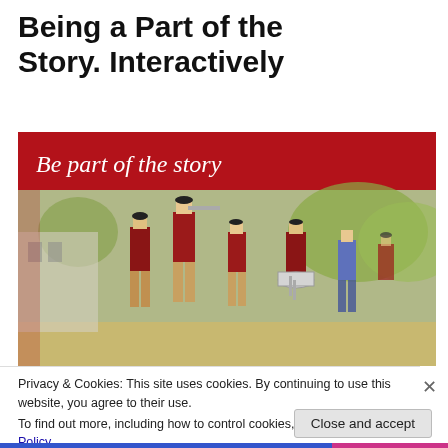Being a Part of the Story. Interactively
[Figure (photo): A photograph showing historical reenactors dressed in red colonial-era military uniforms and tricorn hats, playing fifes and drums, marching outdoors. Above them is a red banner reading 'Be part of the story' in white italic serif text.]
Privacy & Cookies: This site uses cookies. By continuing to use this website, you agree to their use.
To find out more, including how to control cookies, see here: Cookie Policy
Close and accept